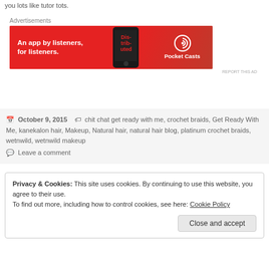you lots like tutor tots.
Advertisements
[Figure (other): Pocket Casts advertisement banner: 'An app by listeners, for listeners.' with a phone image and Pocket Casts logo on red background]
REPORT THIS AD
October 9, 2015   chit chat get ready with me, crochet braids, Get Ready With Me, kanekalon hair, Makeup, Natural hair, natural hair blog, platinum crochet braids, wetnwild, wetnwild makeup
Leave a comment
Privacy & Cookies: This site uses cookies. By continuing to use this website, you agree to their use.
To find out more, including how to control cookies, see here: Cookie Policy
Close and accept